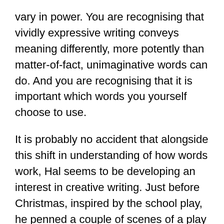vary in power. You are recognising that vividly expressive writing conveys meaning differently, more potently than matter-of-fact, unimaginative words can do. And you are recognising that it is important which words you yourself choose to use.
It is probably no accident that alongside this shift in understanding of how words work, Hal seems to be developing an interest in creative writing. Just before Christmas, inspired by the school play, he penned a couple of scenes of a play of his own (a ghoulish affair in which an army of skeleton soldiers kidnap a princess). Tenacity isn't Hal's strong suit, and work on the play petered out, but more recently at school they have been writing fables and Hal, clearly thoroughly into this, told us with great pride of the fable of the Dog and Frog which he co-authored with another child. Hal's school are brilliant at commendations and he got a certificate of achievement for his fable. I expect